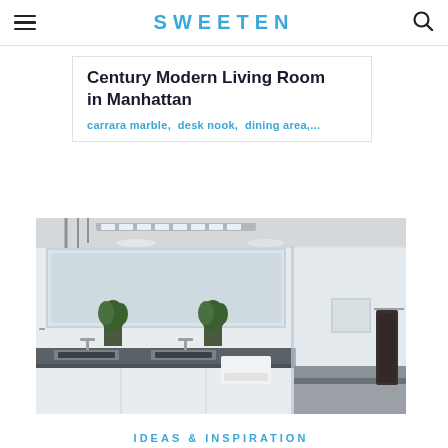SWEETEN
Century Modern Living Room in Manhattan
carrara marble,  desk nook,  dining area,...
[Figure (photo): Modern bathroom with double vanity with dark grey countertops, glass-enclosed shower with bench, white tile walls, potted plants, and dark towel on towel bar]
IDEAS & INSPIRATION